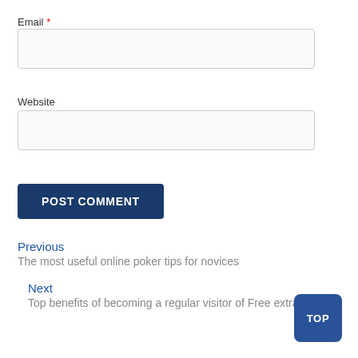Email *
[Figure (screenshot): Empty email input text box]
Website
[Figure (screenshot): Empty website input text box]
POST COMMENT
Previous
The most useful online poker tips for novices
Next
Top benefits of becoming a regular visitor of Free extra chips